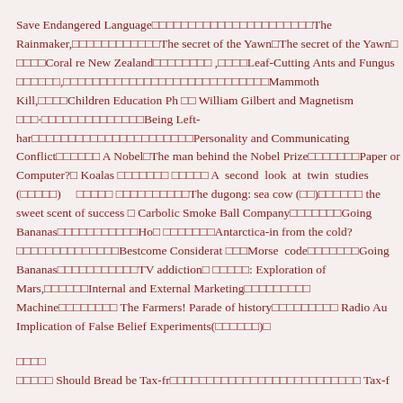Save Endangered Language□□□□□□□□□□□□□□□□□□□□□□The Rainmaker,□□□□□□□□□□□□The secret of the Yawn□The secret of the Yawn□ □□□□Coral re New Zealand□□□□□□□□ ,□□□□Leaf-Cutting Ants and Fungus □□□□□□,□□□□□□□□□□□□□□□□□□□□□□□□□□□□Mammoth Kill,□□□□Children Education Ph □□ William Gilbert and Magnetism □□□·□□□□□□□□□□□□□□Being Left-har□□□□□□□□□□□□□□□□□□□□□□Personality and Communicating Conflict□□□□□□ A Nobel□The man behind the Nobel Prize□□□□□□□Paper or Computer?□ Koalas □□□□□□□ □□□□□ A  second  look  at  twin  studies (□□□□□)     □□□□□ □□□□□□□□□□The dugong: sea cow (□□)□□□□□□ the sweet scent of success □ Carbolic Smoke Ball Company□□□□□□□Going Bananas□□□□□□□□□□□Ho□ □□□□□□□Antarctica-in from the cold?□□□□□□□□□□□□□□Bestcome Considerat □□□Morse  code□□□□□□□Going Bananas□□□□□□□□□□□TV addiction□ □□□□□: Exploration of Mars,□□□□□□Internal and External Marketing□□□□□□□□□ Machine□□□□□□□□ The Farmers! Parade of history□□□□□□□□□ Radio Au Implication of False Belief Experiments(□□□□□□)□
□□□□
□□□□□ Should Bread be Tax-fr□□□□□□□□□□□□□□□□□□□□□□□□□□ Tax-f